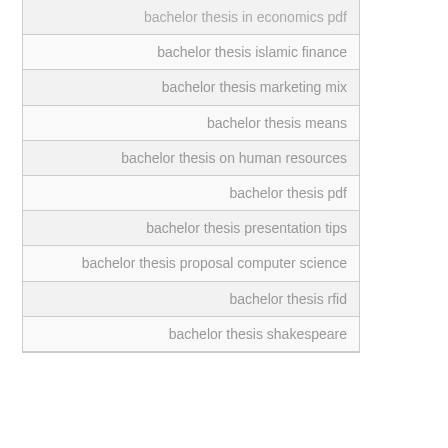bachelor thesis in economics pdf
bachelor thesis islamic finance
bachelor thesis marketing mix
bachelor thesis means
bachelor thesis on human resources
bachelor thesis pdf
bachelor thesis presentation tips
bachelor thesis proposal computer science
bachelor thesis rfid
bachelor thesis shakespeare